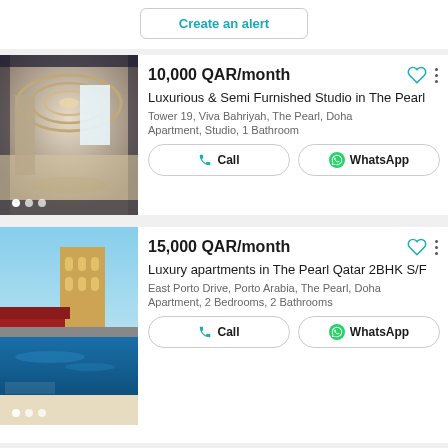Create an alert
10,000 QAR/month
Luxurious & Semi Furnished Studio in The Pearl
Tower 19, Viva Bahriyah, The Pearl, Doha
Apartment, Studio, 1 Bathroom
15,000 QAR/month
Luxury apartments in The Pearl Qatar 2BHK S/F
East Porto Drive, Porto Arabia, The Pearl, Doha
Apartment, 2 Bedrooms, 2 Bathrooms
17,000 QAR/month